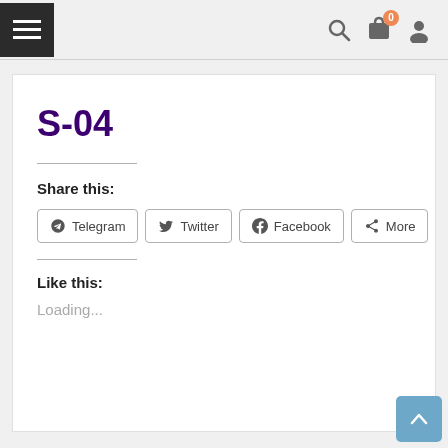Navigation bar with hamburger menu, search, cart (0), and user icons
S-04
Share this:
Telegram  Twitter  Facebook  More
Like this:
Loading...